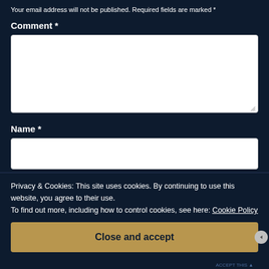Your email address will not be published. Required fields are marked *
Comment *
[Figure (screenshot): Comment textarea input field (empty, white, with resize handle)]
Name *
[Figure (screenshot): Name text input field (empty, white)]
Privacy & Cookies: This site uses cookies. By continuing to use this website, you agree to their use.
To find out more, including how to control cookies, see here: Cookie Policy
Close and accept